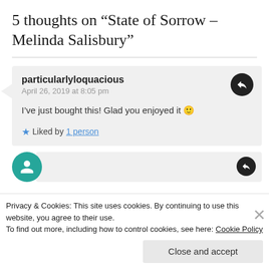5 thoughts on “State of Sorrow – Melinda Salisbury”
particularlyloquacious
April 26, 2019 at 8:05 pm

I’ve just bought this! Glad you enjoyed it 🙂

★ Liked by 1 person
Privacy & Cookies: This site uses cookies. By continuing to use this website, you agree to their use.
To find out more, including how to control cookies, see here: Cookie Policy